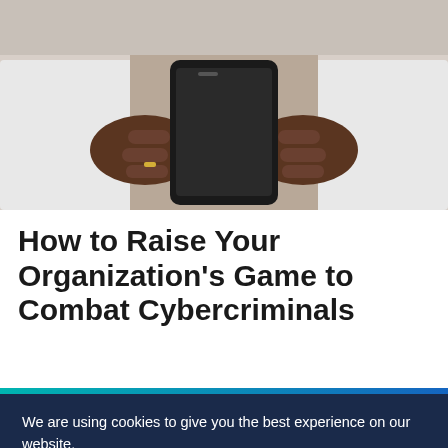[Figure (photo): Close-up photo of a person (wearing a white coat) holding a smartphone with both hands]
How to Raise Your Organization's Game to Combat Cybercriminals
We are using cookies to give you the best experience on our website.
You can find out more about which cookies we are using or switch them off in settings.
Accept